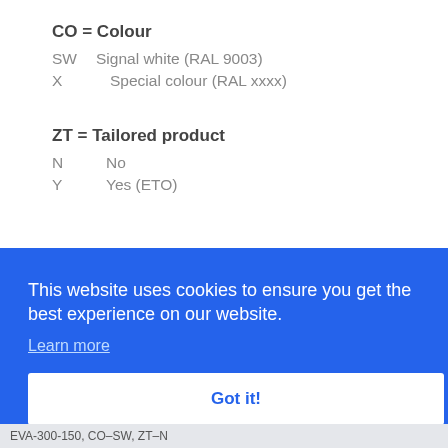CO = Colour
SW    Signal white (RAL 9003)
X      Special colour (RAL xxxx)
ZT = Tailored product
N    No
Y    Yes (ETO)
This website uses cookies to ensure you get the best experience on our website.
Learn more
Got it!
EVA-300-150, CO-SW, ZT-N